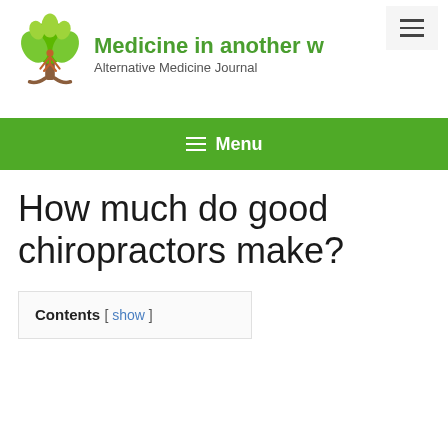[Figure (logo): Green tree with person logo for alternative medicine website]
Medicine in another w
Alternative Medicine Journal
≡ Menu
How much do good chiropractors make?
Contents [ show ]